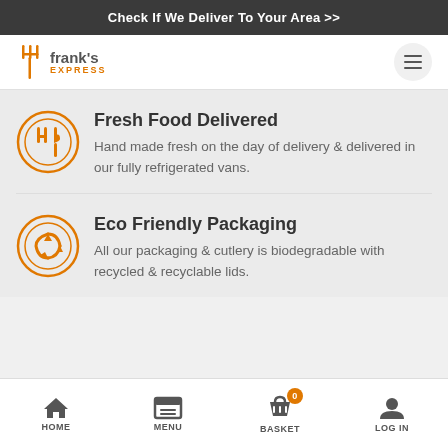Check If We Deliver To Your Area >>
[Figure (logo): Frank's Express logo with fork icon in orange]
Fresh Food Delivered
Hand made fresh on the day of delivery & delivered in our fully refrigerated vans.
Eco Friendly Packaging
All our packaging & cutlery is biodegradable with recycled & recyclable lids.
HOME  MENU  BASKET  LOG IN